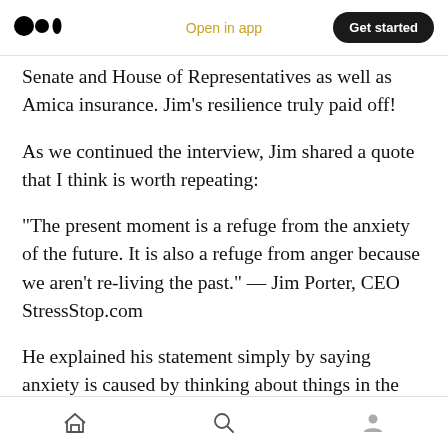Medium app navigation bar with logo, 'Open in app', and 'Get started' button
Senate and House of Representatives as well as Amica insurance. Jim's resilience truly paid off!
As we continued the interview, Jim shared a quote that I think is worth repeating:
“The present moment is a refuge from the anxiety of the future. It is also a refuge from anger because we aren’t re-living the past.” — Jim Porter, CEO StressStop.com
He explained his statement simply by saying anxiety is caused by thinking about things in the
Bottom navigation bar with home, search, and profile icons